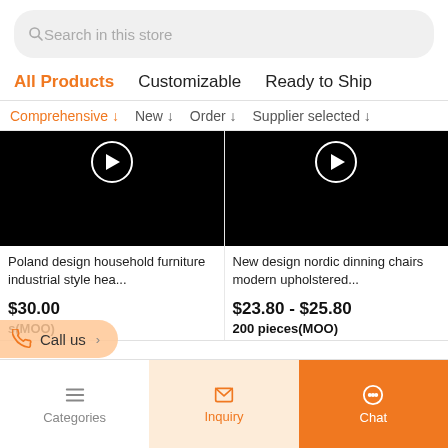Search in this store
All Products   Customizable   Ready to Ship
Comprehensive ↓   New ↓   Order ↓   Supplier selected ↓
[Figure (screenshot): Black product thumbnail with play button circle]
Poland design household furniture industrial style hea...
$30.00
s(MOO)
[Figure (screenshot): Black product thumbnail with play button circle]
New design nordic dinning chairs modern upholstered...
$23.80 - $25.80
200 pieces(MOO)
Call us >
Categories
Inquiry
Chat